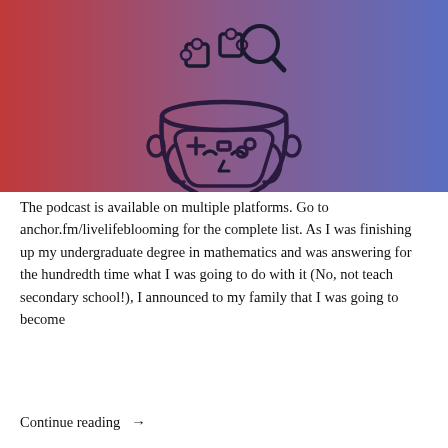[Figure (illustration): Illustration of a person's head (open top, puzzle pieces and a magnifying glass coming out) holding a game controller, on a red-to-blue gradient background]
The podcast is available on multiple platforms. Go to anchor.fm/livelifeblooming for the complete list. As I was finishing up my undergraduate degree in mathematics and was answering for the hundredth time what I was going to do with it (No, not teach secondary school!), I announced to my family that I was going to become
Continue reading  →